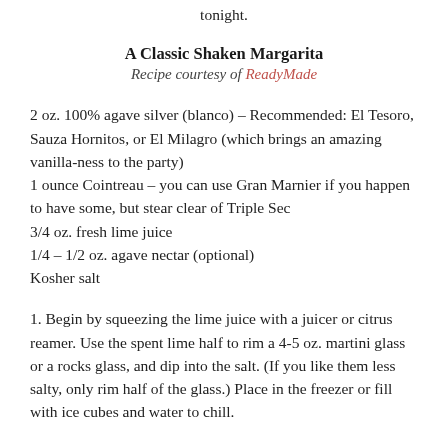tonight.
A Classic Shaken Margarita
Recipe courtesy of ReadyMade
2 oz. 100% agave silver (blanco) – Recommended: El Tesoro, Sauza Hornitos, or El Milagro (which brings an amazing vanilla-ness to the party)
1 ounce Cointreau – you can use Gran Marnier if you happen to have some, but stear clear of Triple Sec
3/4 oz. fresh lime juice
1/4 – 1/2 oz. agave nectar (optional)
Kosher salt
1. Begin by squeezing the lime juice with a juicer or citrus reamer. Use the spent lime half to rim a 4-5 oz. martini glass or a rocks glass, and dip into the salt. (If you like them less salty, only rim half of the glass.) Place in the freezer or fill with ice cubes and water to chill.